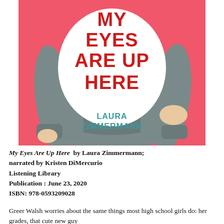[Figure (illustration): Book cover illustration for 'My Eyes Are Up Here' by Laura Zimmermann. Pink/red background with an illustrated figure in a grey hoodie holding a large white speech bubble/circle in front of their face. The speech bubble contains red bold text 'MY EYES ARE UP HERE'. The hoodie pocket area shows teal text 'LAURA ZIMMERMANN'.]
My Eyes Are Up Here  by Laura Zimmermann; narrated by Kristen DiMercurio
Listening Library
Publication : June 23, 2020
ISBN: 978-0593209028
Greer Walsh worries about the same things most high school girls do: her grades, that cute new guy